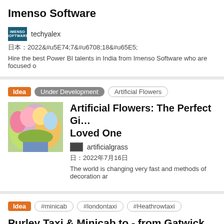Imenso Software
techyalex
日:2022年7月18日
Hire the best Power BI talents in India from Imenso Software who are focused o
Idea  Under Development  Artificial Flowers
Artificial Flowers: The Perfect Gi... Loved One
artificialgrass
日:2022年7月16日
The world is changing very fast and methods of decoration ar
Idea  #minicab  #londontaxi  #Heathrowtaxi
Purley Taxi & Minicab to - from Gatwick Air
Suzan Jackson
日:2022年7月16日
Want to get Purley Minicabs quickly get to your destination safely, with the lowes